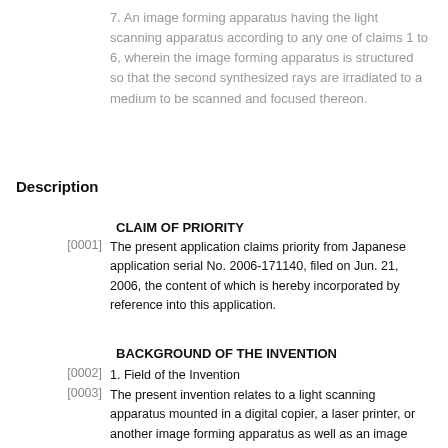7. An image forming apparatus having the light scanning apparatus according to any one of claims 1 to 6, wherein the image forming apparatus is structured so that the second synthesized rays are irradiated to a medium to be scanned and focused thereon.
Description
CLAIM OF PRIORITY
[0001] The present application claims priority from Japanese application serial No. 2006-171140, filed on Jun. 21, 2006, the content of which is hereby incorporated by reference into this application.
BACKGROUND OF THE INVENTION
[0002] 1. Field of the Invention
[0003] The present invention relates to a light scanning apparatus mounted in a digital copier, a laser printer, or another image forming apparatus as well as an image forming apparatus including the light scanning apparatus, and more particularly to a light scanning apparatus having a